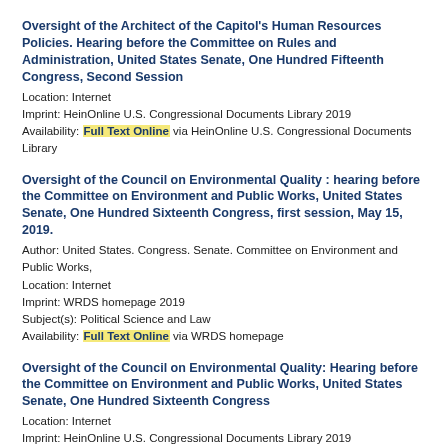Oversight of the Architect of the Capitol's Human Resources Policies. Hearing before the Committee on Rules and Administration, United States Senate, One Hundred Fifteenth Congress, Second Session
Location: Internet
Imprint: HeinOnline U.S. Congressional Documents Library 2019
Availability: Full Text Online via HeinOnline U.S. Congressional Documents Library
Oversight of the Council on Environmental Quality : hearing before the Committee on Environment and Public Works, United States Senate, One Hundred Sixteenth Congress, first session, May 15, 2019.
Author: United States. Congress. Senate. Committee on Environment and Public Works,
Location: Internet
Imprint: WRDS homepage 2019
Subject(s): Political Science and Law
Availability: Full Text Online via WRDS homepage
Oversight of the Council on Environmental Quality: Hearing before the Committee on Environment and Public Works, United States Senate, One Hundred Sixteenth Congress
Location: Internet
Imprint: HeinOnline U.S. Congressional Documents Library 2019
Availability: Full Text Online via HeinOnline U.S. Congressional Documents Library